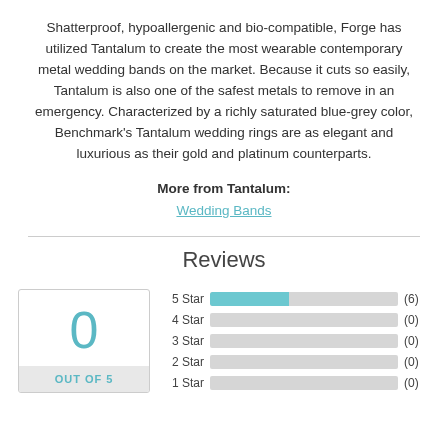Shatterproof, hypoallergenic and bio-compatible, Forge has utilized Tantalum to create the most wearable contemporary metal wedding bands on the market. Because it cuts so easily, Tantalum is also one of the safest metals to remove in an emergency. Characterized by a richly saturated blue-grey color, Benchmark's Tantalum wedding rings are as elegant and luxurious as their gold and platinum counterparts.
More from Tantalum: Wedding Bands
Reviews
[Figure (bar-chart): Reviews]